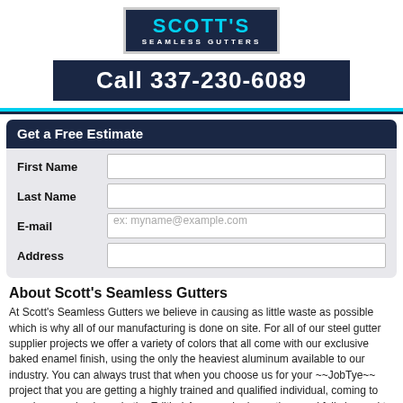[Figure (logo): Scott's Seamless Gutters logo — dark navy background with cyan 'SCOTT'S' text and white 'SEAMLESS GUTTERS' subtitle]
Call 337-230-6089
Get a Free Estimate
First Name
Last Name
E-mail
ex: myname@example.com
Address
About Scott's Seamless Gutters
At Scott's Seamless Gutters we believe in causing as little waste as possible which is why all of our manufacturing is done on site. For all of our steel gutter supplier projects we offer a variety of colors that all come with our exclusive baked enamel finish, using the only the heaviest aluminum available to our industry. You can always trust that when you choose us for your ~~JobTye~~ project that you are getting a highly trained and qualified individual, coming to your home or business in the Edith, LA area, who is cautious and fully insured to bring you peace of